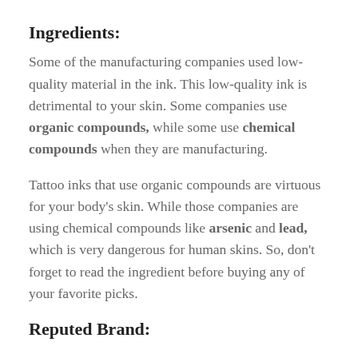Ingredients:
Some of the manufacturing companies used low-quality material in the ink. This low-quality ink is detrimental to your skin. Some companies use organic compounds, while some use chemical compounds when they are manufacturing.
Tattoo inks that use organic compounds are virtuous for your body’s skin. While those companies are using chemical compounds like arsenic and lead, which is very dangerous for human skins. So, don’t forget to read the ingredient before buying any of your favorite picks.
Reputed Brand: